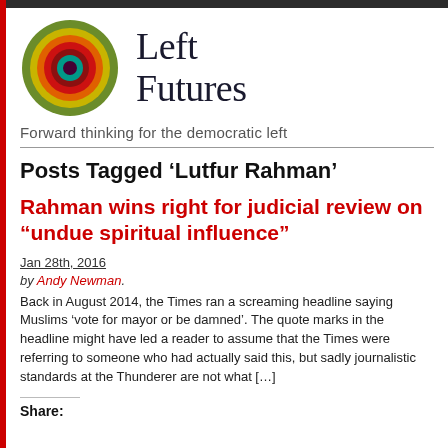[Figure (logo): Left Futures logo: concentric circles in green, yellow, orange, red, dark red, teal, dark purple with site name 'Left Futures' in dark serif font]
Forward thinking for the democratic left
Posts Tagged ‘Lutfur Rahman’
Rahman wins right for judicial review on “undue spiritual influence”
Jan 28th, 2016
by Andy Newman.
Back in August 2014, the Times ran a screaming headline saying Muslims ‘vote for mayor or be damned’. The quote marks in the headline might have led a reader to assume that the Times were referring to someone who had actually said this, but sadly journalistic standards at the Thunderer are not what […]
Share: